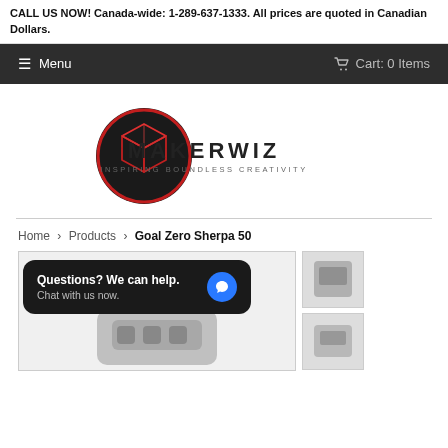CALL US NOW! Canada-wide: 1-289-637-1333. All prices are quoted in Canadian Dollars.
☰ Menu    🛒 Cart: 0 Items
[Figure (logo): Makerwiz logo: red glowing cube icon on dark circular background, with MAKERWIZ text and INSPIRING BOUNDLESS CREATIVITY tagline]
Home > Products > Goal Zero Sherpa 50
[Figure (photo): Product image area showing Goal Zero Sherpa 50 battery pack, partially visible at bottom. Thumbnail images on right side. Chat widget overlay reading 'Questions? We can help. Chat with us now.' with blue chat bubble icon.]